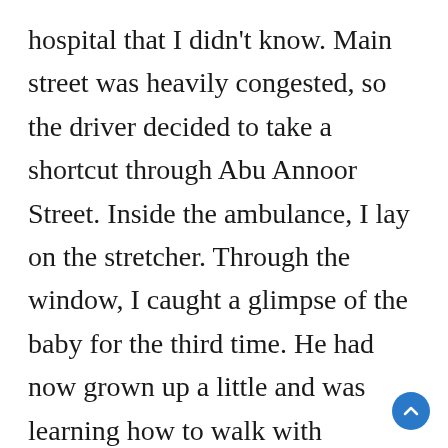hospital that I didn't know. Main street was heavily congested, so the driver decided to take a shortcut through Abu Annoor Street. Inside the ambulance, I lay on the stretcher. Through the window, I caught a glimpse of the baby for the third time. He had now grown up a little and was learning how to walk with tottering steps. A tall man dressed in a striped djellaba was happily holding the baby's hand and encouraging him to slowly walk. The man was bending his knees a littl